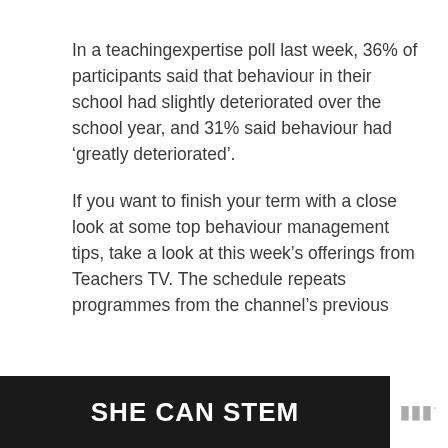In a teachingexpertise poll last week, 36% of participants said that behaviour in their school had slightly deteriorated over the school year, and 31% said behaviour had ‘greatly deteriorated’.
If you want to finish your term with a close look at some top behaviour management tips, take a look at this week’s offerings from Teachers TV. The schedule repeats programmes from the channel’s previous
[Figure (other): Dark banner advertisement reading 'SHE CAN STEM' in bold white text on black background, with a small logo to the right.]